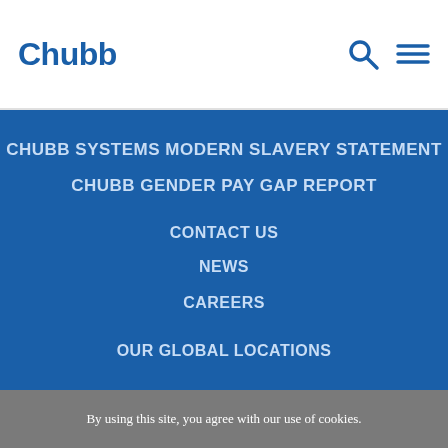Chubb
CHUBB SYSTEMS MODERN SLAVERY STATEMENT
CHUBB GENDER PAY GAP REPORT
CONTACT US
NEWS
CAREERS
OUR GLOBAL LOCATIONS
By using this site, you agree with our use of cookies.
I consent to cookies
Want to know more?
Read our Cookie Policy